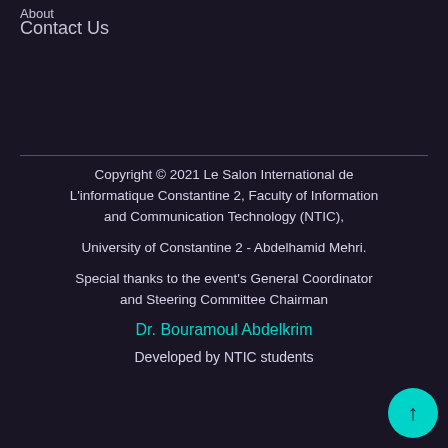About
Contact Us
Copyright © 2021 Le Salon International de L'informatique Constantine 2, Faculty of Information and Communication Technology (NTIC),
University of Constantine 2 - Abdelhamid Mehri.
Special thanks to the event's General Coordinator and Steering Committee Chairman
Dr. Bouramoul Abdelkrim
Developed by NTIC students